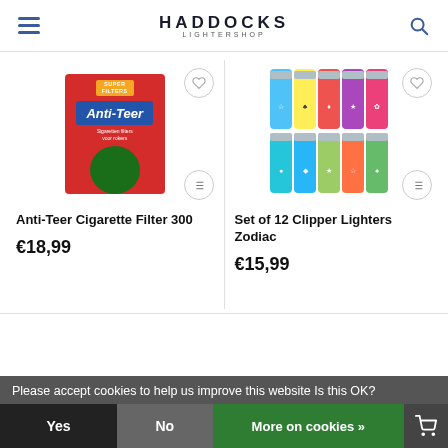HADDOCKS LIGHTERSHOP
[Figure (photo): Anti-Teer Sigaretten Filters cigarette filter box, red packaging with blue Anti-Teer logo]
Anti-Teer Cigarette Filter 300
€18,99
[Figure (photo): Set of 12 Clipper lighters with Zodiac designs, arranged in a 5x2 grid]
Set of 12 Clipper Lighters Zodiac
€15,99
Please accept cookies to help us improve this website Is this OK?
Yes
No
More on cookies »